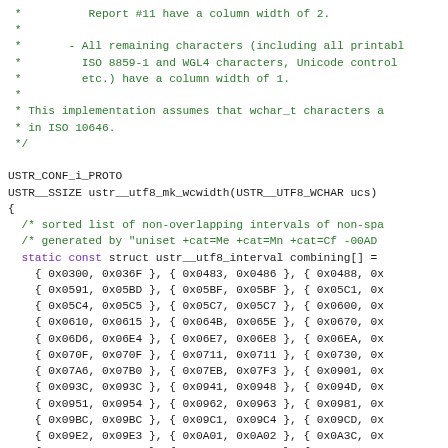Source code excerpt showing C comment block about column widths and Unicode characters, followed by function declaration USTR__SSIZE ustr__utf8_mk_wcwidth(USTR__UTF8_WCHAR ucs) with static const struct ustr__utf8_interval combining[] array initialization containing Unicode hex value pairs.